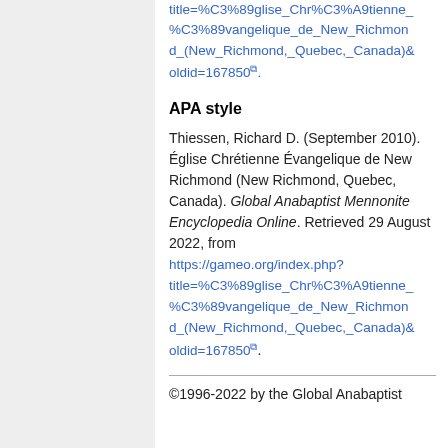title=%C3%89glise_Chr%C3%A9tienne_%C3%89vangelique_de_New_Richmond_(New_Richmond,_Quebec,_Canada)&oldid=167850.
APA style
Thiessen, Richard D. (September 2010). Église Chrétienne Évangelique de New Richmond (New Richmond, Quebec, Canada). Global Anabaptist Mennonite Encyclopedia Online. Retrieved 29 August 2022, from https://gameo.org/index.php?title=%C3%89glise_Chr%C3%A9tienne_%C3%89vangelique_de_New_Richmond_(New_Richmond,_Quebec,_Canada)&oldid=167850.
©1996-2022 by the Global Anabaptist